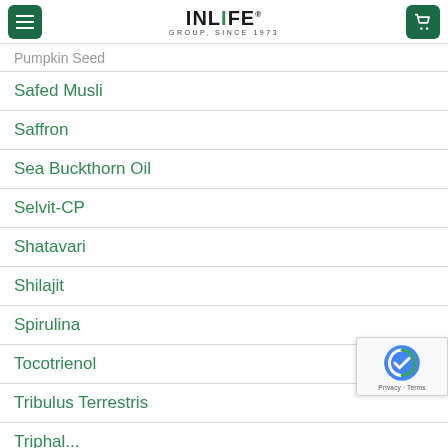INLIFE GROUP, SINCE 1973
Pumpkin Seed
Safed Musli
Saffron
Sea Buckthorn Oil
Selvit-CP
Shatavari
Shilajit
Spirulina
Tocotrienol
Tribulus Terrestris
Triphal...